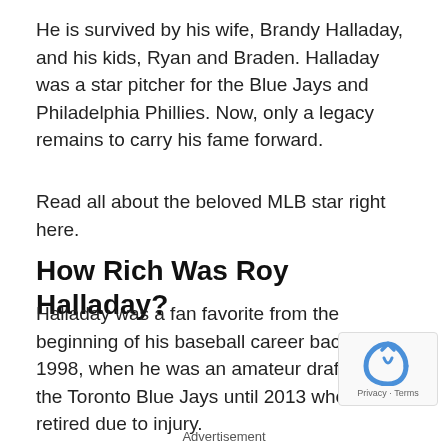He is survived by his wife, Brandy Halladay, and his kids, Ryan and Braden. Halladay was a star pitcher for the Blue Jays and Philadelphia Phillies. Now, only a legacy remains to carry his fame forward.
Read all about the beloved MLB star right here.
How Rich Was Roy Halladay?
Halladay was a fan favorite from the beginning of his baseball career back in 1998, when he was an amateur draft pick by the Toronto Blue Jays until 2013 when he retired due to injury.
Advertisement